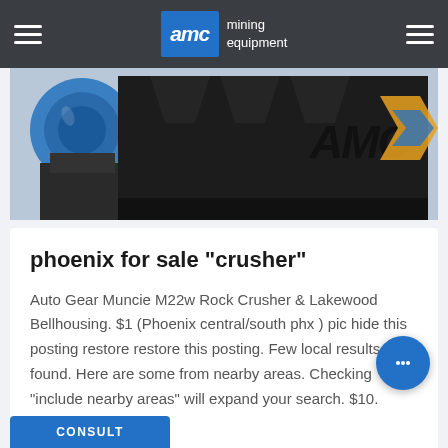AMC mining equipment
[Figure (photo): Mining crusher equipment with blue electric motor on left and black hopper body; AMC logo visible on machine casing]
phoenix for sale "crusher"
Auto Gear Muncie M22w Rock Crusher & Lakewood Bellhousing. $1 (Phoenix central/south phx ) pic hide this posting restore restore this posting. Few local results found. Here are some from nearby areas. Checking "include nearby areas" will expand your search. $10. favorite this post.